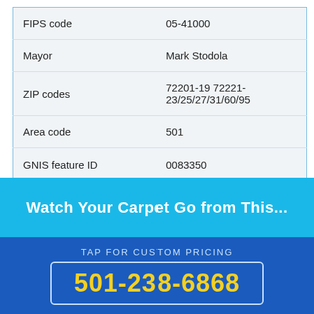| FIPS code | 05-41000 |
| Mayor | Mark Stodola |
| ZIP codes | 72201-19 72221-23/25/27/31/60/95 |
| Area code | 501 |
| GNIS feature ID | 0083350 |
Watch Your Carpet Go from This...
TAP FOR CUSTOM PRICING
501-238-6868